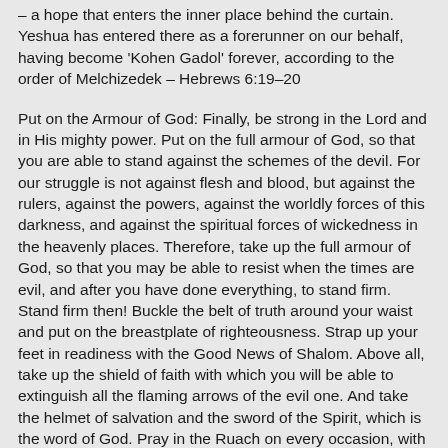– a hope that enters the inner place behind the curtain. Yeshua has entered there as a forerunner on our behalf, having become 'Kohen Gadol' forever, according to the order of Melchizedek – Hebrews 6:19–20
Put on the Armour of God: Finally, be strong in the Lord and in His mighty power. Put on the full armour of God, so that you are able to stand against the schemes of the devil. For our struggle is not against flesh and blood, but against the rulers, against the powers, against the worldly forces of this darkness, and against the spiritual forces of wickedness in the heavenly places. Therefore, take up the full armour of God, so that you may be able to resist when the times are evil, and after you have done everything, to stand firm. Stand firm then! Buckle the belt of truth around your waist and put on the breastplate of righteousness. Strap up your feet in readiness with the Good News of Shalom. Above all, take up the shield of faith with which you will be able to extinguish all the flaming arrows of the evil one. And take the helmet of salvation and the sword of the Spirit, which is the word of God. Pray in the Ruach on every occasion, with all kinds of prayers and requests. With this in mind, keep alert with perseverance and supplication for all the kaddishim – Ephesians